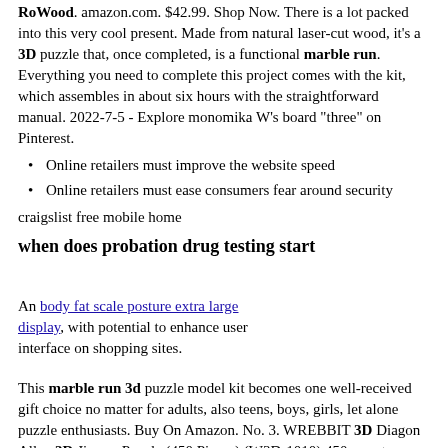RoWood. amazon.com. $42.99. Shop Now. There is a lot packed into this very cool present. Made from natural laser-cut wood, it's a 3D puzzle that, once completed, is a functional marble run. Everything you need to complete this project comes with the kit, which assembles in about six hours with the straightforward manual. 2022-7-5 - Explore monomika W's board "three" on Pinterest.
Online retailers must improve the website speed
Online retailers must ease consumers fear around security
craigslist free mobile home
when does probation drug testing start
An body fat scale posture extra large display, with potential to enhance user interface on shopping sites.
This marble run 3d puzzle model kit becomes one well-received gift choice no matter for adults, also teens, boys, girls, let alone puzzle enthusiasts. Buy On Amazon. No. 3. WREBBIT 3D Diagon Alley 3D Jigsaw Puzzle (450 Pieces) (W3D-1010) 450 easy to